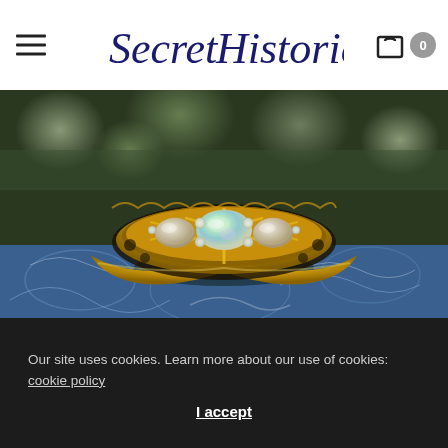Secret Histories
[Figure (photo): Close-up photograph of a Victorian-style antique gold ring featuring three oval opal cabochons set in a boat-shaped mount with small rose-cut diamond accents between the opals, resting on a blue decorative surface with a blurred green background.]
Our site uses cookies. Learn more about our use of cookies: cookie policy
I accept